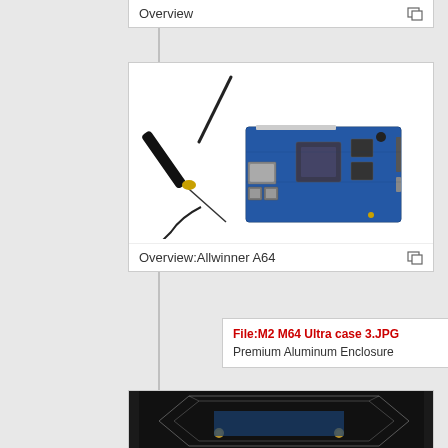Overview
[Figure (photo): Single-board computer (Orange Pi / Allwinner A64) with a WiFi antenna attached via cable, showing ethernet port, USB ports, and various connectors on a blue PCB]
Overview:Allwinner A64
File:M2 M64 Ultra case 3.JPG
Premium Aluminum Enclosure
[Figure (photo): Partial view of a dark enclosure/case for the single-board computer, showing acrylic or metal case components]